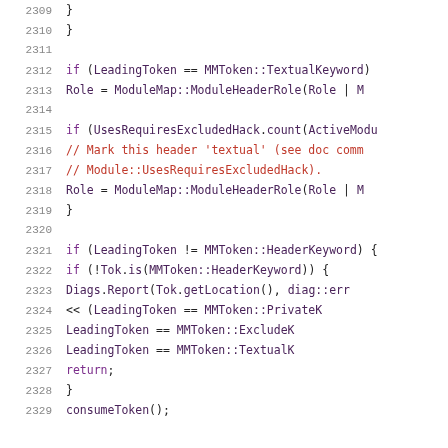Source code listing lines 2309-2329, C++ code with syntax highlighting showing conditional logic involving LeadingToken, ModuleMap, UsesRequiresExcludedHack, and token consumption.